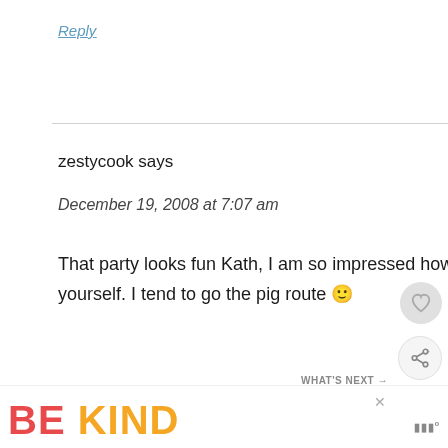Reply
zestycook says
December 19, 2008 at 7:07 am
That party looks fun Kath, I am so impressed how you can eat so little and not make a pig out of yourself. I tend to go the pig route 🙂
zesty
BE KIND